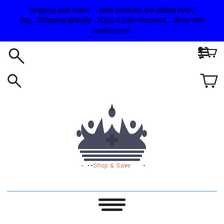Ongoing sale event ....New products are added every day....Shipping globally....Easy & safe checkout....Shop with confidence!!
[Figure (logo): Allmartdeal logo with a crown icon above the text 'Allmartdeal' and tagline 'Shop & Save']
[Figure (other): Hamburger menu icon with three horizontal lines]